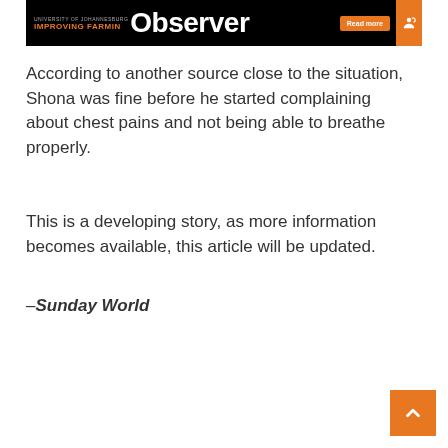[Figure (other): University of Johannesburg Observer banner advertisement with 'IMPROVING FARMING' text, 'Observer' title, 'Read more' button, and orange icon on black background]
According to another source close to the situation, Shona was fine before he started complaining about chest pains and not being able to breathe properly.
This is a developing story, as more information becomes available, this article will be updated.
— Sunday World